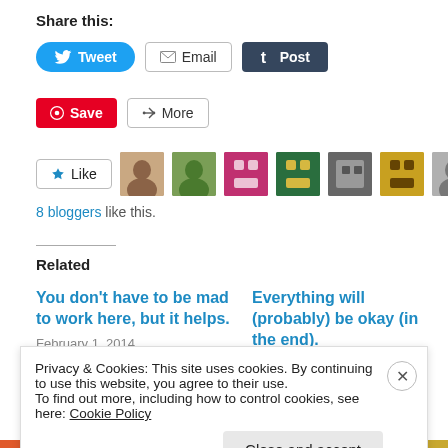Share this:
[Figure (screenshot): Social sharing buttons: Tweet (Twitter), Email, Post (Tumblr), Save (Pinterest), More]
[Figure (screenshot): Like button with 8 blogger avatars]
8 bloggers like this.
Related
You don't have to be mad to work here, but it helps.
February 1, 2014
In "The writing process"
Everything will (probably) be okay (in the end).
December 4, 2014
In "Depression"
Privacy & Cookies: This site uses cookies. By continuing to use this website, you agree to their use.
To find out more, including how to control cookies, see here: Cookie Policy
Close and accept